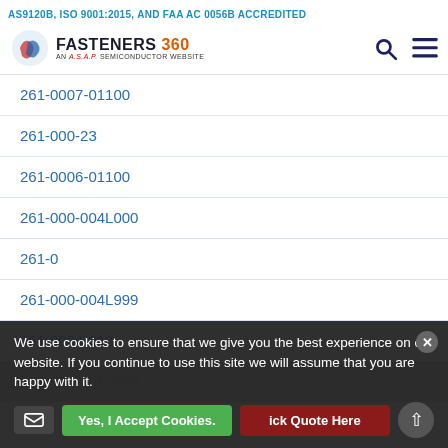AS9120B, ISO 9001:2015, AND FAA AC 0056B ACCREDITED
[Figure (logo): Fasteners 360 logo - An ASAP Semiconductor website, with search and menu icons]
261-0007-01100
261-000-23
261-0006-01100
261-000-004L000
261-0
261-000-004L999
261-0004-010
261-000-001L999
We use cookies to ensure that we give you the best experience on our website. If you continue to use this site we will assume that you are happy with it.